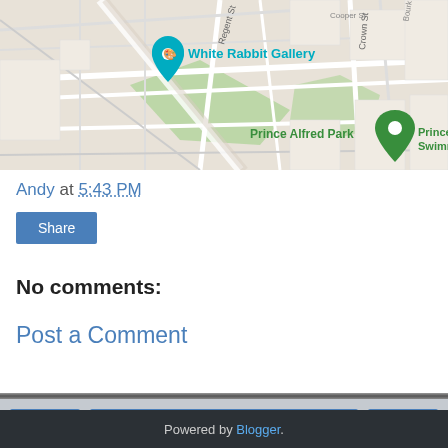[Figure (map): Google Maps view showing White Rabbit Gallery (teal pin), Prince Alfred Swimming Pool (green pin), Prince Alfred Park, Sculpture by the (teal camera icon), and Surry Hills label. Streets include Regent St, Crown St, Cooper St. Scale shows 1,000 ft. Orange pin visible near Redfern.]
Andy at 5:43 PM
Share
No comments:
Post a Comment
Home
View web version
Powered by Blogger.